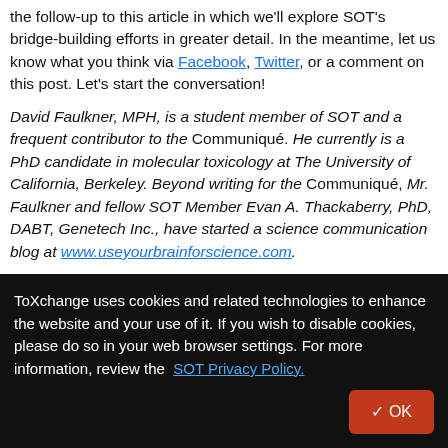the follow-up to this article in which we'll explore SOT's bridge-building efforts in greater detail. In the meantime, let us know what you think via Facebook, Twitter, or a comment on this post. Let's start the conversation!
David Faulkner, MPH, is a student member of SOT and a frequent contributor to the Communiqué. He currently is a PhD candidate in molecular toxicology at The University of California, Berkeley. Beyond writing for the Communiqué, Mr. Faulkner and fellow SOT Member Evan A. Thackaberry, PhD, DABT, Genetech Inc., have started a science communication blog at www.useyourbrainforscience.com.
0 comments   0 views
ToXchange uses cookies and related technologies to enhance the website and your use of it. If you wish to disable cookies, please do so in your web browser settings. For more information, review the SOT Privacy Policy.